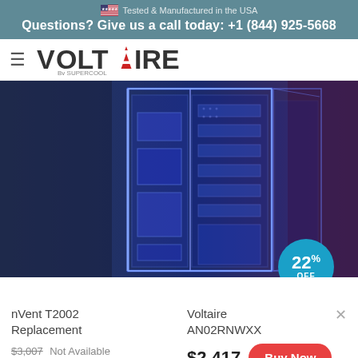Tested & Manufactured in the USA
Questions? Give us a call today: +1 (844) 925-5668
[Figure (logo): Voltaire by Supercool logo with hamburger menu icon]
[Figure (photo): Blue wireframe/3D render of a server rack enclosure or air containment unit on dark blue-purple background with 22% OFF badge]
nVent T2002 Replacement
Voltaire AN02RNWXX
$3,007 Not Available
$2,417
Buy Now